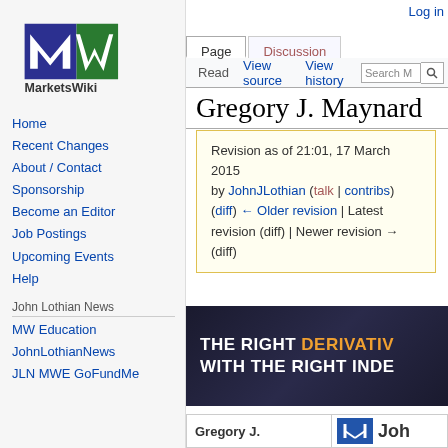[Figure (logo): MarketsWiki logo: blue and green stylized 'MW' letters above text 'MarketsWiki']
Home
Recent Changes
About / Contact
Sponsorship
Become an Editor
Job Postings
Upcoming Events
Help
John Lothian News
MW Education
JohnLothianNews
JLN MWE GoFundMe
Log in
Page | Discussion | Read | View source | View history | Search
Gregory J. Maynard
Revision as of 21:01, 17 March 2015 by JohnJLothian (talk | contribs) (diff) ← Older revision | Latest revision (diff) | Newer revision → (diff)
[Figure (photo): Advertisement banner: dark background with text 'THE RIGHT DERIVATIVE WITH THE RIGHT INDE...' in white and orange]
Gregory J.
[Figure (logo): JLN blue square logo with stylized letters, followed by partial 'Joh...' text]